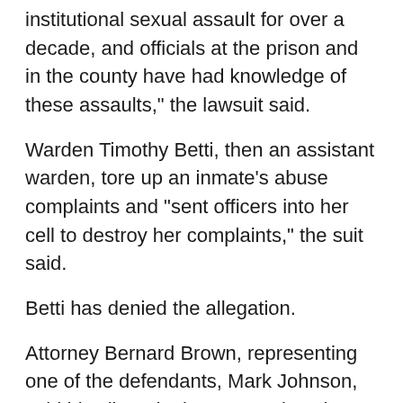institutional sexual assault for over a decade, and officials at the prison and in the county have had knowledge of these assaults," the lawsuit said.
Warden Timothy Betti, then an assistant warden, tore up an inmate's abuse complaints and "sent officers into her cell to destroy her complaints," the suit said.
Betti has denied the allegation.
Attorney Bernard Brown, representing one of the defendants, Mark Johnson, said his client denies accusations he fondled and harassed an inmate.
"They're simply false," Brown said. "He didn't do any of this stuff. He doesn't know where these allegations would come from."
The scandal has been brewing for years. A guard